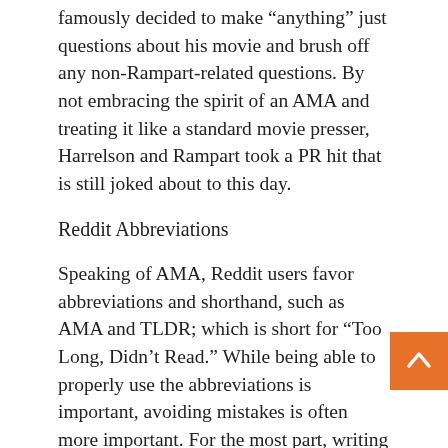famously decided to make “anything” just questions about his movie and brush off any non-Rampart-related questions. By not embracing the spirit of an AMA and treating it like a standard movie presser, Harrelson and Rampart took a PR hit that is still joked about to this day.
Reddit Abbreviations
Speaking of AMA, Reddit users favor abbreviations and shorthand, such as AMA and TLDR; which is short for “Too Long, Didn’t Read.” While being able to properly use the abbreviations is important, avoiding mistakes is often more important. For the most part, writing normally won’t seem out of place, but attempting to “fit in” and missing the mark will immediately stand out and hurt your brand’s image in the community.
Properly using Reddit lingo in your posts and ad creatives